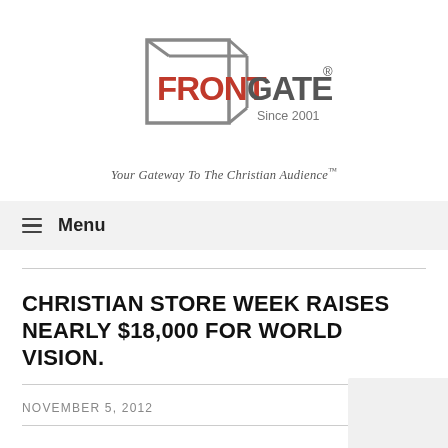[Figure (logo): FrontGate logo with stylized speech-bubble shape in gray outline, 'FRONT' in red bold text, 'GATE' in gray bold text, registered trademark symbol, 'Since 2001' in gray, and tagline 'Your Gateway To The Christian Audience™' in italic gray below.]
≡ Menu
CHRISTIAN STORE WEEK RAISES NEARLY $18,000 FOR WORLD VISION.
NOVEMBER 5, 2012